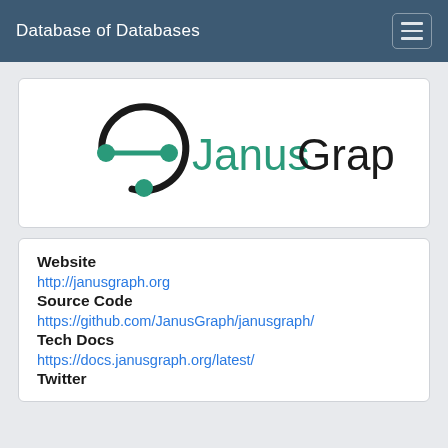Database of Databases
[Figure (logo): JanusGraph logo: circular arrow icon in black and teal with teal dots, alongside 'JanusGraph' text in teal and black]
Website
http://janusgraph.org
Source Code
https://github.com/JanusGraph/janusgraph/
Tech Docs
https://docs.janusgraph.org/latest/
Twitter